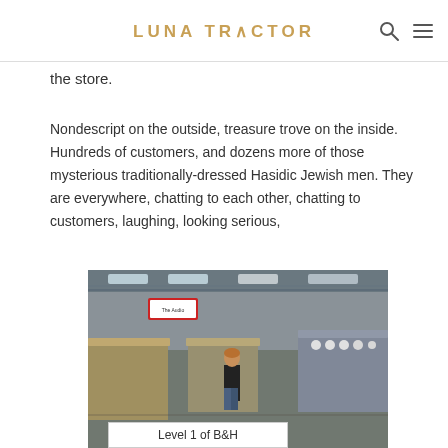LUNA TRACTOR
the store.
Nondescript on the outside, treasure trove on the inside. Hundreds of customers, and dozens more of those mysterious traditionally-dressed Hasidic Jewish men. They are everywhere, chatting to each other, chatting to customers, laughing, looking serious,
[Figure (photo): Interior of B&H Photo store, Level 1, showing display cases, merchandise shelves, store lighting, and a person standing in the middle of the store floor.]
Level 1 of B&H